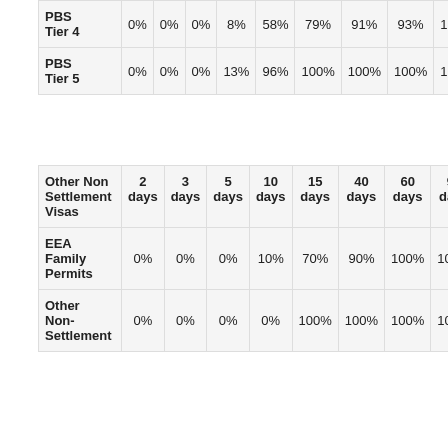|  | 2 days | 3 days | 5 days | 10 days | 15 days | 40 days | 60 days | 90 days | ... |
| --- | --- | --- | --- | --- | --- | --- | --- | --- | --- |
| PBS Tier 4 | 0% | 0% | 0% | 8% | 58% | 79% | 91% | 93% | 100% |
| PBS Tier 5 | 0% | 0% | 0% | 13% | 96% | 100% | 100% | 100% | 100% |
| Other Non Settlement Visas | 2 days | 3 days | 5 days | 10 days | 15 days | 40 days | 60 days | 90 days |
| --- | --- | --- | --- | --- | --- | --- | --- | --- |
| EEA Family Permits | 0% | 0% | 0% | 10% | 70% | 90% | 100% | 100% |
| Other Non-Settlement | 0% | 0% | 0% | 0% | 100% | 100% | 100% | 100% |